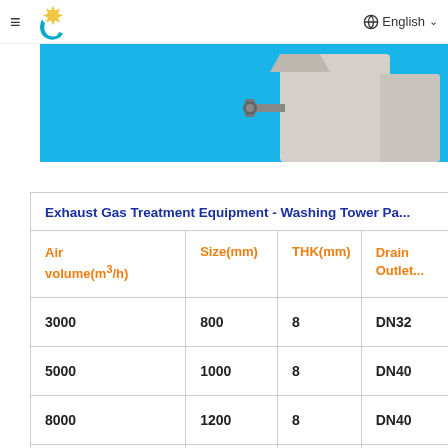≡  XICHENG   🌐 English ∨
[Figure (photo): Blue background product photo showing a washing tower / exhaust gas treatment equipment (partial view, cropped at right edge)]
Exhaust Gas Treatment Equipment - Washing Tower Pa...
| Air volume(m³/h) | Size(mm) | THK(mm) | Drain Outlet |
| --- | --- | --- | --- |
| 3000 | 800 | 8 | DN32 |
| 5000 | 1000 | 8 | DN40 |
| 8000 | 1200 | 8 | DN40 |
|  |  |  |  |